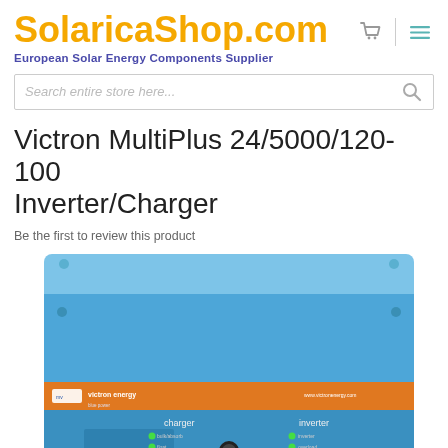SolaricaShop.com — European Solar Energy Components Supplier
Search entire store here...
Victron MultiPlus 24/5000/120-100 Inverter/Charger
Be the first to review this product
[Figure (photo): Victron Energy MultiPlus 24/5000/120-100 inverter/charger unit — a blue metal enclosure with an orange branded stripe, showing charger and inverter indicator panels with LED lights and wiring diagram.]